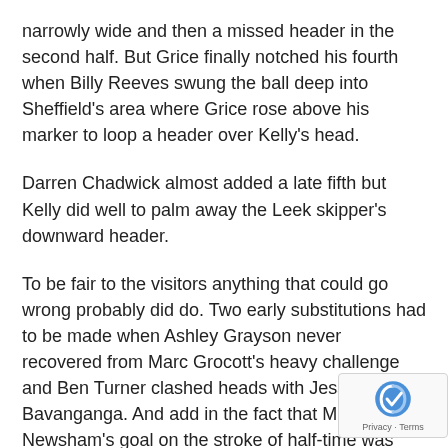narrowly wide and then a missed header in the second half. But Grice finally notched his fourth when Billy Reeves swung the ball deep into Sheffield's area where Grice rose above his marker to loop a header over Kelly's head.
Darren Chadwick almost added a late fifth but Kelly did well to palm away the Leek skipper's downward header.
To be fair to the visitors anything that could go wrong probably did do. Two early substitutions had to be made when Ashley Grayson never recovered from Marc Grocott's heavy challenge and Ben Turner clashed heads with Jessy Bavanganga. And add in the fact that Marc Newsham's goal on the stroke of half-time was ruled out – probably incorrectly – by the assistant's flag. But nothing should detract from a powerful display from the Blues.